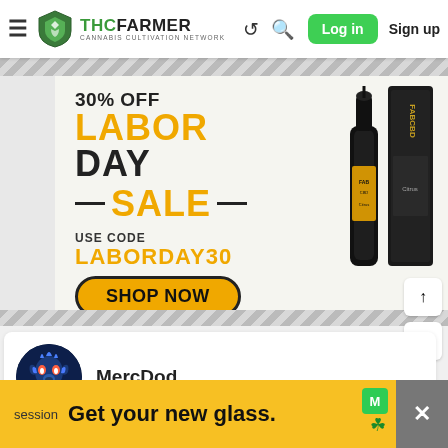THCFarmer Cannabis Cultivation Network — Log in | Sign up
[Figure (photo): FAB CBD 30% Off Labor Day Sale advertisement with CBD oil bottle dropper and packaging. Use code LABORDAY30. Shop Now button.]
MercDod
[Figure (photo): Bottom sticky ad: session — Get your new glass. with M badge logo and close button.]